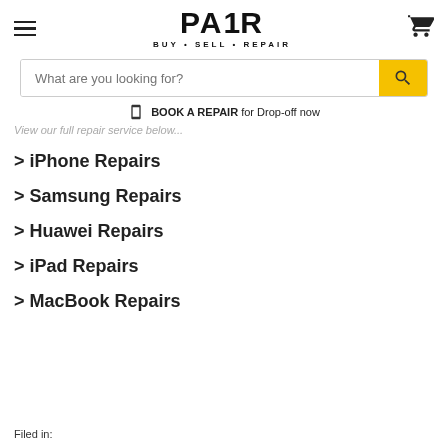[Figure (logo): PAIR Buy Sell Repair logo with hamburger menu icon and shopping cart icon]
What are you looking for?
BOOK A REPAIR for Drop-off now
View our full repair service below...
> iPhone Repairs
> Samsung Repairs
> Huawei Repairs
> iPad Repairs
> MacBook Repairs
Filed in: